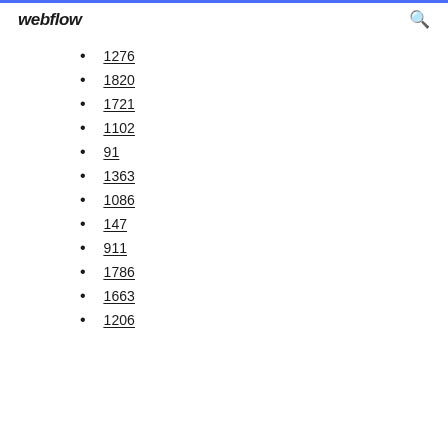webflow
1276
1820
1721
1102
91
1363
1086
147
911
1786
1663
1206